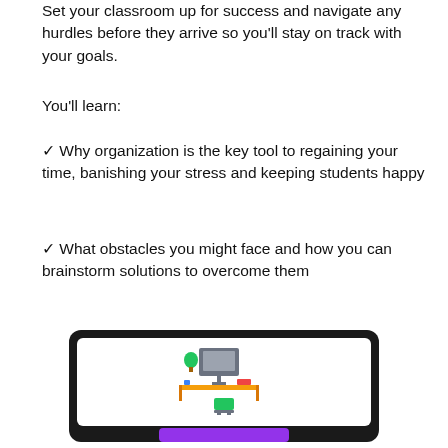Set your classroom up for success and navigate any hurdles before they arrive so you'll stay on track with your goals.
You'll learn:
✓ Why organization is the key tool to regaining your time, banishing your stress and keeping students happy
✓ What obstacles you might face and how you can brainstorm solutions to overcome them
[Figure (illustration): Laptop/tablet screen showing a classroom desk illustration with a purple button below it]